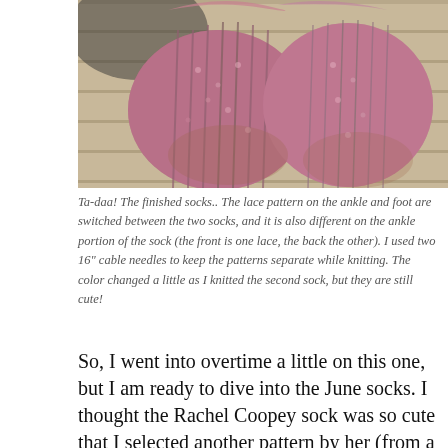[Figure (photo): Close-up photograph of two finished knitted socks in a variegated pink/mauve/brown yarn with lace and cable patterns, laid on a wooden surface.]
Ta-daa! The finished socks.. The lace pattern on the ankle and foot are switched between the two socks, and it is also different on the ankle portion of the sock (the front is one lace, the back the other). I used two 16" cable needles to keep the patterns separate while knitting. The color changed a little as I knitted the second sock, but they are still cute!
So, I went into overtime a little on this one, but I am ready to dive into the June socks. I thought the Rachel Coopey sock was so cute that I selected another pattern by her (from a different book) and...